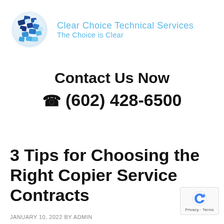[Figure (logo): Clear Choice Technical Services globe puzzle logo with blue puzzle pieces forming a sphere, alongside company name 'Clear Choice Technical Services' and tagline 'The Choice is Clear' in light blue text]
Contact Us Now
☎ (602) 428-6500
3 Tips for Choosing the Right Copier Service Contracts
JANUARY 10, 2022 BY ADMIN